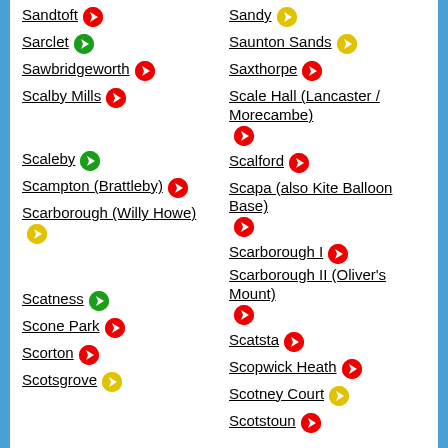Sandtoft [red icon]
Sandy [yellow icon]
Sarclet [green icon]
Saunton Sands [yellow icon]
Sawbridgeworth [red icon]
Saxthorpe [red icon]
Scalby Mills [red icon]
Scale Hall (Lancaster / Morecambe) [red icon]
Scaleby [green icon]
Scalford [red icon]
Scampton (Brattleby) [red icon]
Scapa (also Kite Balloon Base) [red icon]
Scarborough (Willy Howe) [yellow icon]
Scarborough I [red icon]
Scarborough II (Oliver's Mount) [red icon]
Scatness [green icon]
Scatsta [red icon]
Scone Park [red icon]
Scopwick Heath [red icon]
Scorton [red icon]
Scotney Court [yellow icon]
Scotsgrove [yellow icon]
Scotstoun [red icon]